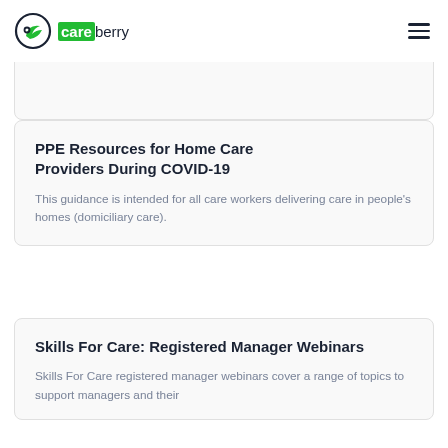careberry
Business and the admin required. But it's time-consuming and can easily run into problems.
PPE Resources for Home Care Providers During COVID-19
This guidance is intended for all care workers delivering care in people's homes (domiciliary care).
Skills For Care: Registered Manager Webinars
Skills For Care registered manager webinars cover a range of topics to support managers and their